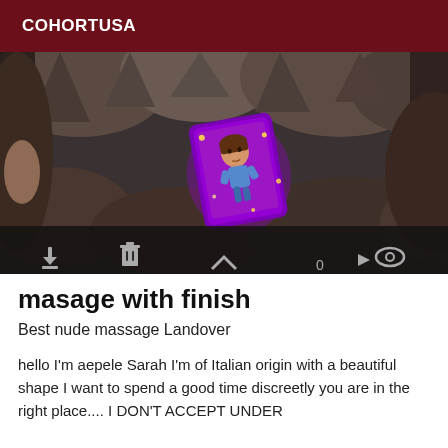COHORTUSA
[Figure (screenshot): Screenshot of a messaging app showing a bitmoji sticker of a cartoon woman with brown hair floating in a purple glowing card, over a dark rocky cave background. Bottom toolbar shows download, delete, send, 0, and eye icons.]
masage with finish
Best nude massage Landover
hello I'm aepele Sarah I'm of Italian origin with a beautiful shape I want to spend a good time discreetly you are in the right place.... I DON'T ACCEPT UNDER